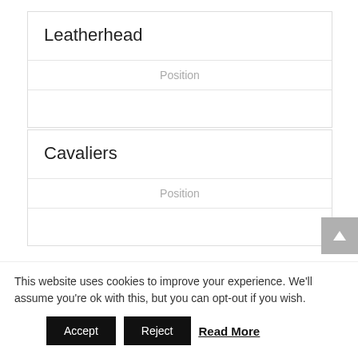Leatherhead
Position
Cavaliers
Position
Details
This website uses cookies to improve your experience. We'll assume you're ok with this, but you can opt-out if you wish.
Accept
Reject
Read More